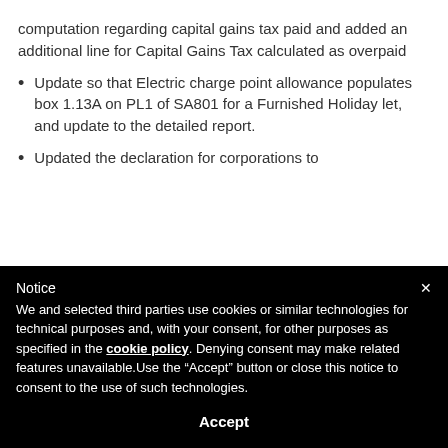computation regarding capital gains tax paid and added an additional line for Capital Gains Tax calculated as overpaid
Update so that Electric charge point allowance populates box 1.13A on PL1 of SA801 for a Furnished Holiday let, and update to the detailed report.
Updated the declaration for corporations to
Notice
We and selected third parties use cookies or similar technologies for technical purposes and, with your consent, for other purposes as specified in the cookie policy. Denying consent may make related features unavailable.Use the “Accept” button or close this notice to consent to the use of such technologies.
Accept